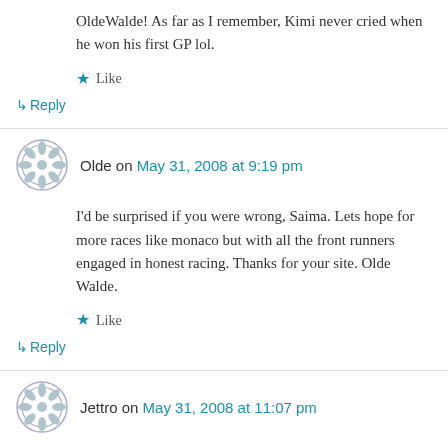OldeWalde! As far as I remember, Kimi never cried when he won his first GP lol.
Like
↳ Reply
Olde on May 31, 2008 at 9:19 pm
I'd be surprised if you were wrong, Saima. Lets hope for more races like monaco but with all the front runners engaged in honest racing. Thanks for your site. Olde Walde.
Like
↳ Reply
Jettro on May 31, 2008 at 11:07 pm